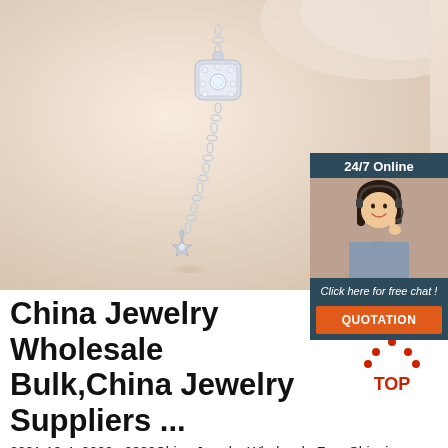[Figure (photo): Silver jewelry necklace with crystal pendant on a cream/beige fabric background]
[Figure (infographic): 24/7 Online chat widget with customer service representative photo, 'Click here for free chat!' text, and orange QUOTATION button]
China Jewelry Wholesale Bulk,China Jewelry Suppliers ...
[Figure (logo): Red TOP logo with arrow pointing up]
2021-10-4u2002·u2002China Jewelry Wholesale Free Shipping. Bulk buy jewelry from China jewelry